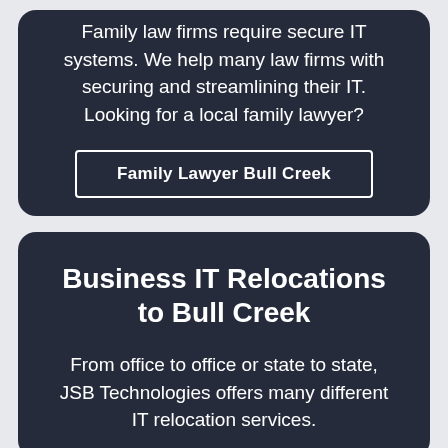Family law firms require secure IT systems. We help many law firms with securing and streamlining their IT. Looking for a local family lawyer?
Family Lawyer Bull Creek
Business IT Relocations to Bull Creek
From office to office or state to state, JSB Technologies offers many different IT relocation services.